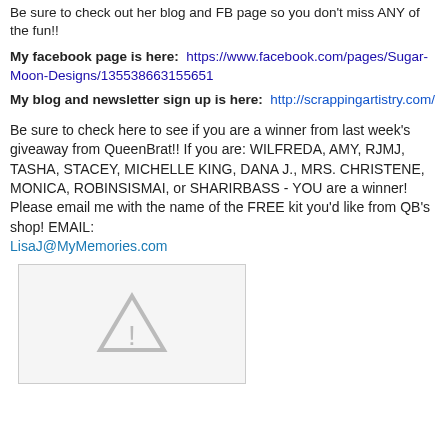Be sure to check out her blog and FB page so you don't miss ANY of the fun!!
My facebook page is here:  https://www.facebook.com/pages/Sugar-Moon-Designs/135538663155651
My blog and newsletter sign up is here:  http://scrappingartistry.com/
Be sure to check here to see if you are a winner from last week's giveaway from QueenBrat!! If you are: WILFREDA, AMY, RJMJ, TASHA, STACEY, MICHELLE KING, DANA J., MRS. CHRISTENE, MONICA, ROBINSISMAI, or SHARIRBASS - YOU are a winner! Please email me with the name of the FREE kit you'd like from QB's shop! EMAIL: LisaJ@MyMemories.com
[Figure (illustration): Placeholder image with a warning triangle icon (grey triangle with exclamation mark on light grey background)]